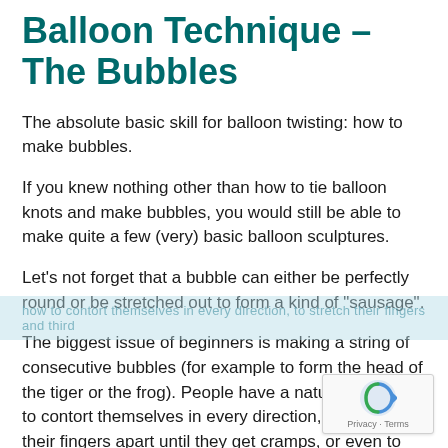Balloon Technique – The Bubbles
The absolute basic skill for balloon twisting: how to make bubbles.
If you knew nothing other than how to tie balloon knots and make bubbles, you would still be able to make quite a few (very) basic balloon sculptures.
Let's not forget that a bubble can either be perfectly round or be stretched out to form a kind of "sausage".
The biggest issue of beginners is making a string of consecutive bubbles (for example to form the head of the tiger or the frog). People have a natural tendency to contort themselves in every direction, to stretch their fingers apart until they get cramps, or even to commandeer someone else's hands because having two themselves just doesn't seem to be enough.